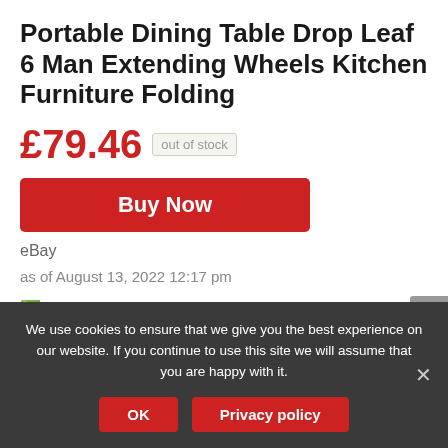Portable Dining Table Drop Leaf 6 Man Extending Wheels Kitchen Furniture Folding
£79.46  out of stock
Buy Now
eBay
as of August 13, 2022 12:17 pm
✅THICK BASE: Ensures the table is steady and
We use cookies to ensure that we give you the best experience on our website. If you continue to use this site we will assume that you are happy with it.
OK
Privacy policy